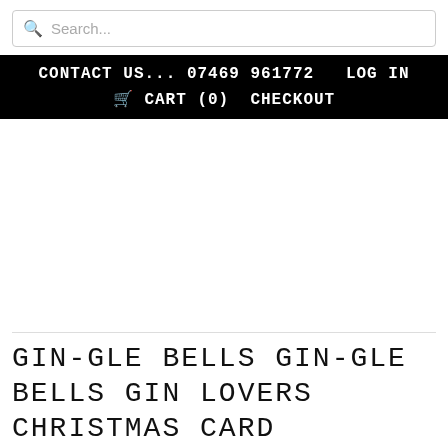Search...
CONTACT US... 07469 961772   LOG IN   🛒 CART (0)   CHECKOUT
GIN-GLE BELLS GIN-GLE BELLS GIN LOVERS CHRISTMAS CARD